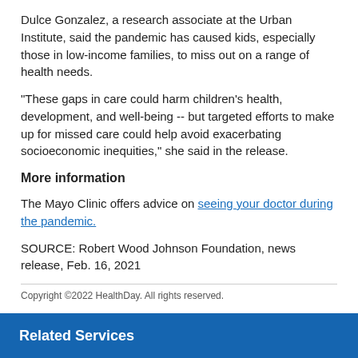Dulce Gonzalez, a research associate at the Urban Institute, said the pandemic has caused kids, especially those in low-income families, to miss out on a range of health needs.
"These gaps in care could harm children's health, development, and well-being -- but targeted efforts to make up for missed care could help avoid exacerbating socioeconomic inequities," she said in the release.
More information
The Mayo Clinic offers advice on seeing your doctor during the pandemic.
SOURCE: Robert Wood Johnson Foundation, news release, Feb. 16, 2021
Copyright ©2022 HealthDay. All rights reserved.
Related Services